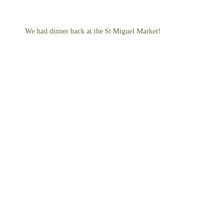We had dinner back at the St Miguel Market!